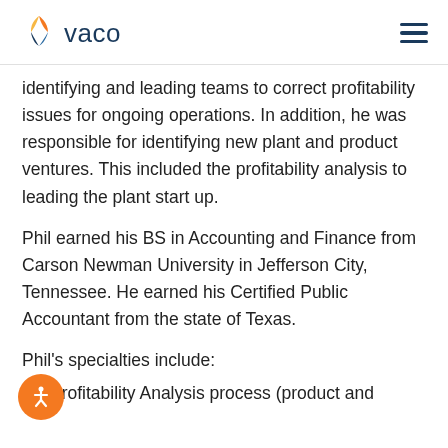vaco
identifying and leading teams to correct profitability issues for ongoing operations. In addition, he was responsible for identifying new plant and product ventures. This included the profitability analysis to leading the plant start up.
Phil earned his BS in Accounting and Finance from Carson Newman University in Jefferson City, Tennessee. He earned his Certified Public Accountant from the state of Texas.
Phil's specialties include:
Profitability Analysis process (product and